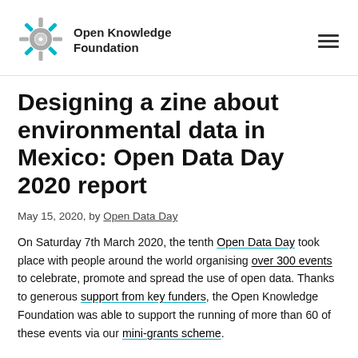Open Knowledge Foundation
Designing a zine about environmental data in Mexico: Open Data Day 2020 report
May 15, 2020, by Open Data Day
On Saturday 7th March 2020, the tenth Open Data Day took place with people around the world organising over 300 events to celebrate, promote and spread the use of open data. Thanks to generous support from key funders, the Open Knowledge Foundation was able to support the running of more than 60 of these events via our mini-grants scheme.